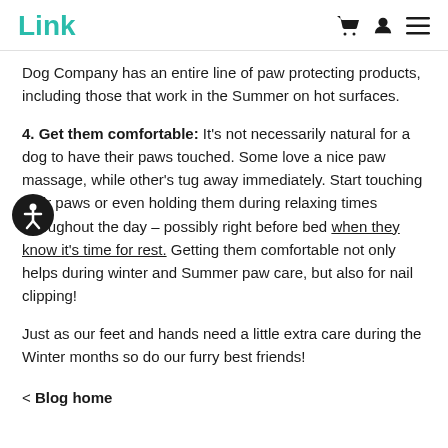Link
Dog Company has an entire line of paw protecting products, including those that work in the Summer on hot surfaces.
4. Get them comfortable: It's not necessarily natural for a dog to have their paws touched. Some love a nice paw massage, while other's tug away immediately. Start touching their paws or even holding them during relaxing times throughout the day – possibly right before bed when they know it's time for rest. Getting them comfortable not only helps during winter and Summer paw care, but also for nail clipping!
Just as our feet and hands need a little extra care during the Winter months so do our furry best friends!
< Blog home